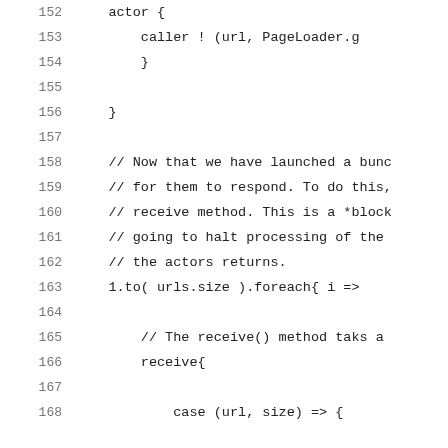152    actor {
153        caller ! (url, PageLoader.g
154        }
155
156    }
157
158    // Now that we have launched a bunc
159    // for them to respond. To do this,
160    // receive method. This is a *block
161    // going to halt processing of the
162    // the actors returns.
163    1.to( urls.size ).foreach{ i =>
164
165        // The receive() method taks a
166        receive{
167
168            case (url, size) => {